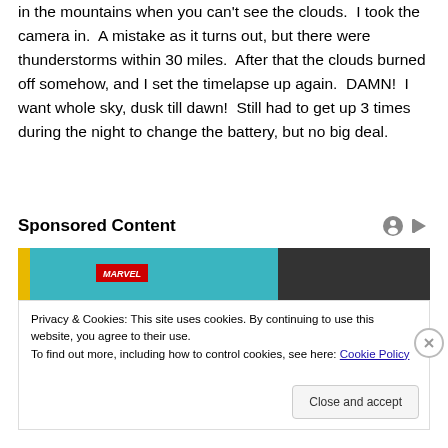in the mountains when you can't see the clouds.  I took the camera in.  A mistake as it turns out, but there were thunderstorms within 30 miles.  After that the clouds burned off somehow, and I set the timelapse up again.  DAMN!  I want whole sky, dusk till dawn!  Still had to get up 3 times during the night to change the battery, but no big deal.
Sponsored Content
[Figure (photo): Advertisement image with Marvel logo and teal/dark background]
Privacy & Cookies: This site uses cookies. By continuing to use this website, you agree to their use.
To find out more, including how to control cookies, see here: Cookie Policy